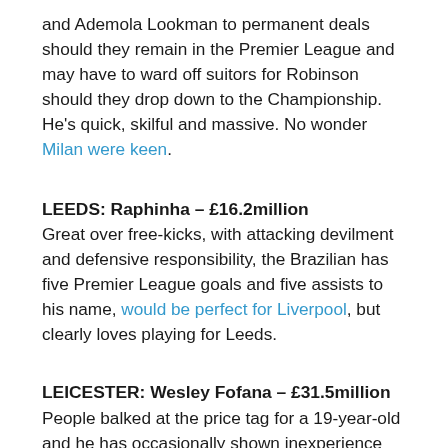and Ademola Lookman to permanent deals should they remain in the Premier League and may have to ward off suitors for Robinson should they drop down to the Championship. He's quick, skilful and massive. No wonder Milan were keen.
LEEDS: Raphinha – £16.2million
Great over free-kicks, with attacking devilment and defensive responsibility, the Brazilian has five Premier League goals and five assists to his name, would be perfect for Liverpool, but clearly loves playing for Leeds.
LEICESTER: Wesley Fofana – £31.5million
People balked at the price tag for a 19-year-old and he has occasionally shown inexperience manifesting itself as a